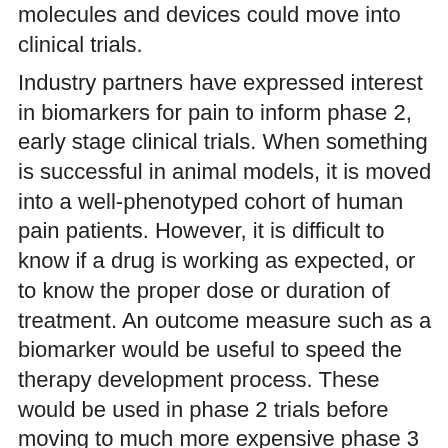molecules and devices could move into clinical trials.
Industry partners have expressed interest in biomarkers for pain to inform phase 2, early stage clinical trials. When something is successful in animal models, it is moved into a well-phenotyped cohort of human pain patients. However, it is difficult to know if a drug is working as expected, or to know the proper dose or duration of treatment. An outcome measure such as a biomarker would be useful to speed the therapy development process. These would be used in phase 2 trials before moving to much more expensive phase 3 trials. Programs have been announced where we will call for grants to discover new biomarkers and validate them in multi-site studies to determine which will be most useful for the therapy development process.